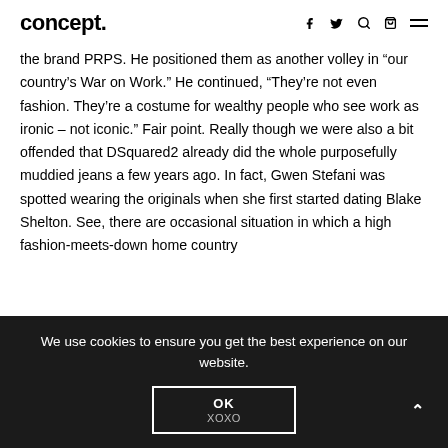concept.
the brand PRPS. He positioned them as another volley in “our country’s War on Work.” He continued, “They’re not even fashion. They’re a costume for wealthy people who see work as ironic – not iconic.” Fair point. Really though we were also a bit offended that DSquared2 already did the whole purposefully muddied jeans a few years ago. In fact, Gwen Stefani was spotted wearing the originals when she first started dating Blake Shelton. See, there are occasional situation in which a high fashion-meets-down home country
We use cookies to ensure you get the best experience on our website.
OK
XOXO